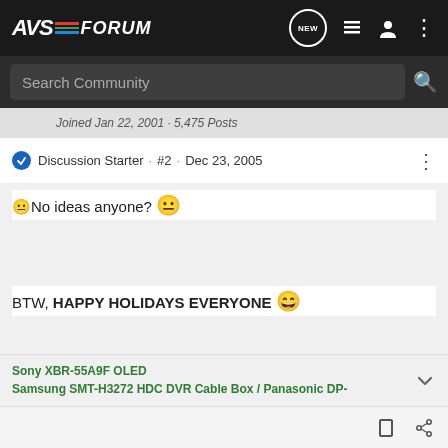AVS FORUM
Search Community
Joined Jan 22, 2001 · 5,475 Posts
Discussion Starter · #2 · Dec 23, 2005
🙁No ideas anyone? 😐
BTW, HAPPY HOLIDAYS EVERYONE 😁
Sony XBR-55A9F OLED
Samsung SMT-H3272 HDC DVR Cable Box / Panasonic DP-